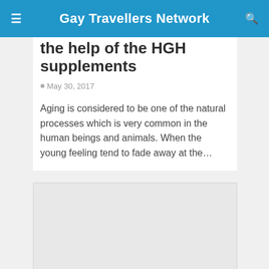Gay Travellers Network
the help of the HGH supplements
May 30, 2017
Aging is considered to be one of the natural processes which is very common in the human beings and animals. When the young feeling tend to fade away at the…
[Figure (other): Advertisement or placeholder box, light gray background]